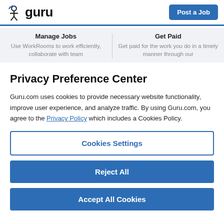guru | Post a Job
Manage Jobs
Use WorkRooms to work efficiently, collaborate with team
Get Paid
Get paid for the work you do in a timely manner through our
Privacy Preference Center
Guru.com uses cookies to provide necessary website functionality, improve user experience, and analyze traffic. By using Guru.com, you agree to the Privacy Policy which includes a Cookies Policy.
Cookies Settings
Reject All
Accept All Cookies